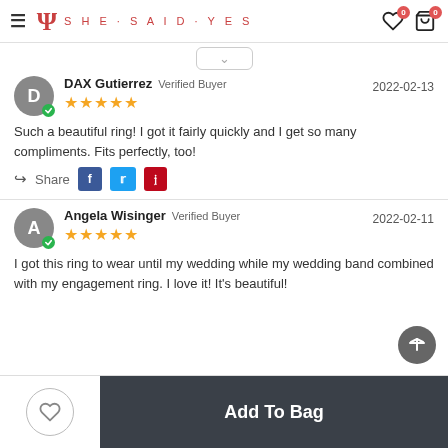She Said Yes — navigation header with logo, hamburger menu, wishlist and bag icons
[Figure (screenshot): Chevron down scroll indicator inside a rounded rectangle box]
DAX Gutierrez  Verified Buyer  2022-02-13  ★★★★★
Such a beautiful ring! I got it fairly quickly and I get so many compliments. Fits perfectly, too!
Share  [Facebook] [Twitter] [Pinterest]
Angela Wisinger  Verified Buyer  2022-02-11  ★★★★★
I got this ring to wear until my wedding while my wedding band combined with my engagement ring. I love it! It's beautiful!
Add To Bag